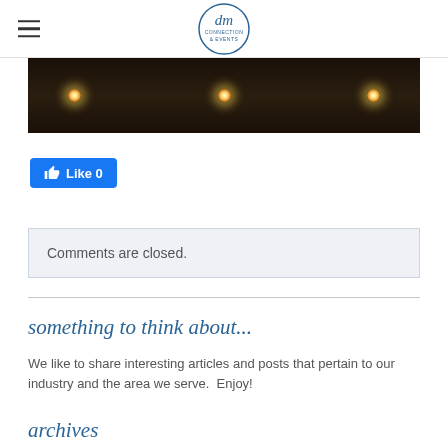dm Connection & Events
[Figure (photo): Dark interior photo with three glowing light fixtures/bulbs visible against a dark background]
[Figure (screenshot): Facebook Like button showing thumbs up icon and Like 0]
Comments are closed.
something to think about...
We like to share interesting articles and posts that pertain to our industry and the area we serve.  Enjoy!
archives